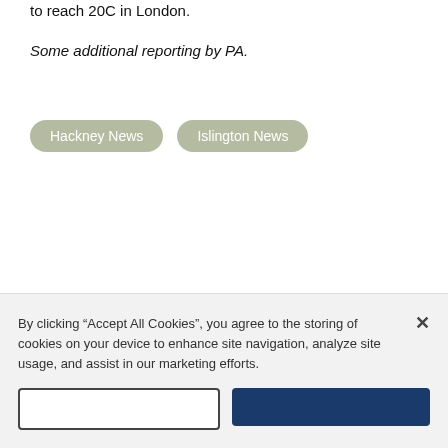to reach 20C in London.
Some additional reporting by PA.
Hackney News
Islington News
By clicking “Accept All Cookies”, you agree to the storing of cookies on your device to enhance site navigation, analyze site usage, and assist in our marketing efforts.